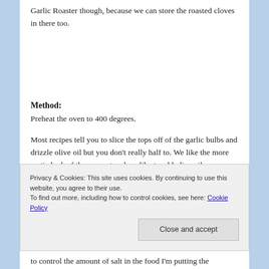Garlic Roaster though, because we can store the roasted cloves in there too.
Method:
Preheat the oven to 400 degrees.
Most recipes tell you to slice the tops off of the garlic bulbs and drizzle olive oil but you don't really half to. We like the more rustic look of them uncut and we like to add olive oil
Privacy & Cookies: This site uses cookies. By continuing to use this website, you agree to their use.
To find out more, including how to control cookies, see here: Cookie Policy
to control the amount of salt in the food I'm putting the